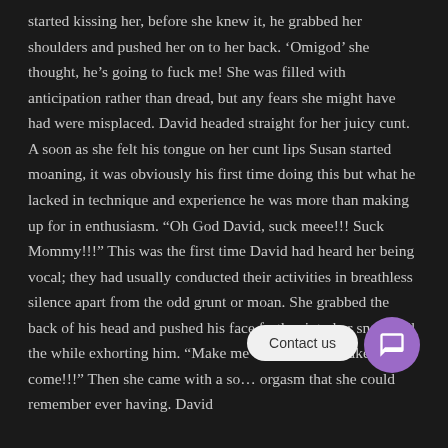started kissing her, before she knew it, he grabbed her shoulders and pushed her on to her back. ‘Omigod’ she thought, he’s going to fuck me! She was filled with anticipation rather than dread, but any fears she might have had were misplaced. David headed straight for her juicy cunt. A soon as she felt his tongue on her cunt lips Susan started moaning, it was obviously his first time doing this but what he lacked in technique and experience he was more than making up for in enthusiasm. “Oh God David, suck meee!!! Suck Mommy!!!” This was the first time David had heard her being vocal; they had usually conducted their activities in breathless silence apart from the odd grunt or moan. She grabbed the back of his head and pushed his face further into her snatch all the while exhorting him. “Make me come David, make Mom come!!!” Then she came with a so... orgasm that she could remember ever having. David
[Figure (other): Contact us chat widget button with purple circular icon and white speech bubble icon]